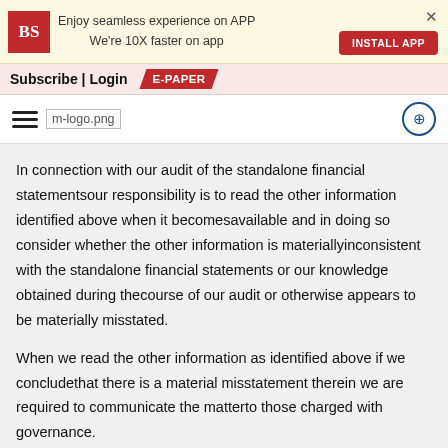[Figure (logo): Business Standard (BS) app install banner with BS logo, 'Enjoy seamless experience on APP / We're 10X faster on app' text, INSTALL APP button, and close X]
Subscribe | Login   E-PAPER
[Figure (logo): Hamburger menu icon, m-logo.png image placeholder, and share/add icon on the right]
In connection with our audit of the standalone financial statementsour responsibility is to read the other information identified above when it becomesavailable and in doing so consider whether the other information is materiallyinconsistent with the standalone financial statements or our knowledge obtained during thecourse of our audit or otherwise appears to be materially misstated.
When we read the other information as identified above if we concludethat there is a material misstatement therein we are required to communicate the matterto those charged with governance.
Management's Responsibility for the Standalone Financial Statements
The Company's Board of Directors is responsible for the matters statedin Section 134(5) of the Companies Act 2013 ("the Act") with respect to